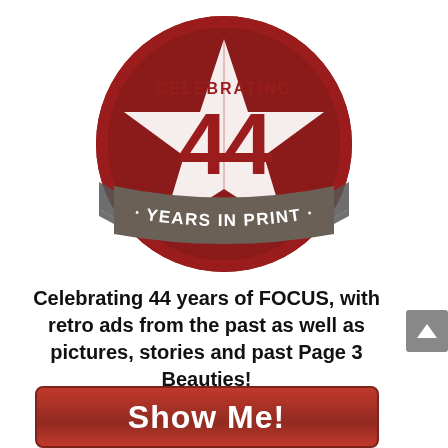[Figure (logo): Circular red badge/seal with serrated edge, large red number '44' in center, white star shape behind, gray ribbon banner across middle reading '· YEARS IN PRINT ·', text 'CELEBRATING' above the number]
Celebrating 44 years of FOCUS, with retro ads from the past as well as pictures, stories and past Page 3 Beauties!
[Figure (other): Red rounded rectangle button with white bold text 'Show Me!']